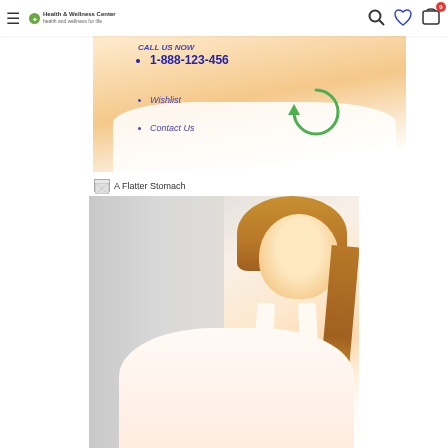≡  Health & Wellness Center  🔍  ♡  🛒 0
[Figure (photo): Woman in white tank top pointing to her stomach area with a green circular arrow overlay]
CALL US NOW
1-888-123-456
Wishlist
Contact Us
[Figure (photo): Broken image icon with alt text 'A Flatter Stomach']
[Figure (photo): Smiling blonde woman in white top, from waist up, health/wellness promotional image]